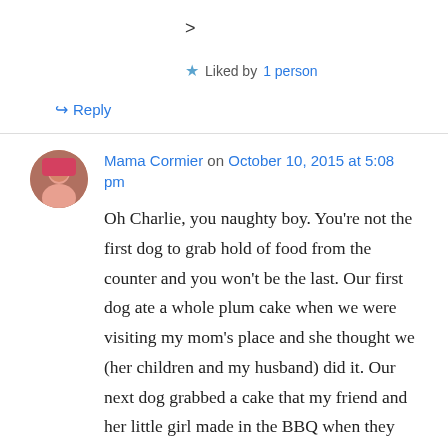>
★ Liked by 1 person
↪ Reply
Mama Cormier on October 10, 2015 at 5:08 pm
Oh Charlie, you naughty boy. You're not the first dog to grab hold of food from the counter and you won't be the last. Our first dog ate a whole plum cake when we were visiting my mom's place and she thought we (her children and my husband) did it. Our next dog grabbed a cake that my friend and her little girl made in the BBQ when they were visiting us at the cottage. It was still hot and they put it on the picnic table. When